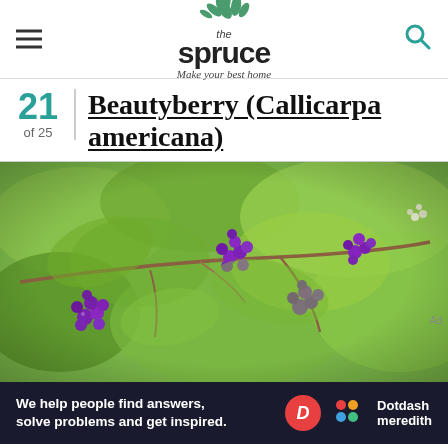the spruce — Make your best home
21 of 25 — Beautyberry (Callicarpa americana)
[Figure (photo): Close-up photograph of beautyberry (Callicarpa americana) branches with vivid purple clustered berries and green leaves in the background.]
Ad
We help people find answers, solve problems and get inspired. Dotdash meredith